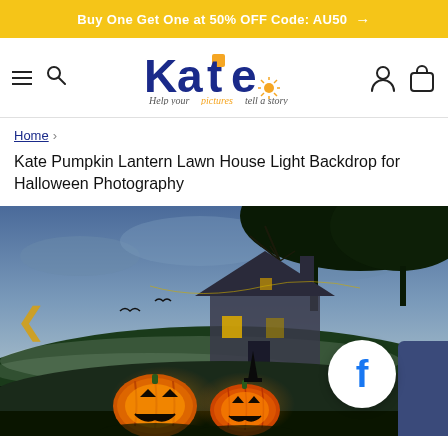Buy One Get One at 50% OFF Code: AU50 →
[Figure (logo): Kate photography logo with tagline 'Help your pictures tell a story']
Home › Kate Pumpkin Lantern Lawn House Light Backdrop for Halloween Photography
Kate Pumpkin Lantern Lawn House Light Backdrop for Halloween Photography
[Figure (photo): Halloween photography backdrop showing a spooky house on a lawn at dusk/night with glowing jack-o-lantern pumpkins in the foreground and dark trees overhead under a blue-grey sky]